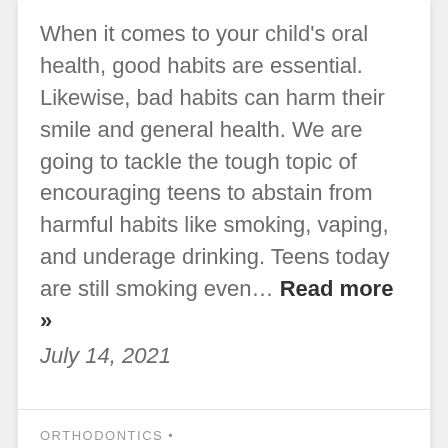When it comes to your child's oral health, good habits are essential. Likewise, bad habits can harm their smile and general health. We are going to tackle the tough topic of encouraging teens to abstain from harmful habits like smoking, vaping, and underage drinking. Teens today are still smoking even... Read more » July 14, 2021
ORTHODONTICS •
Check Out These Tips To Help You Prevent